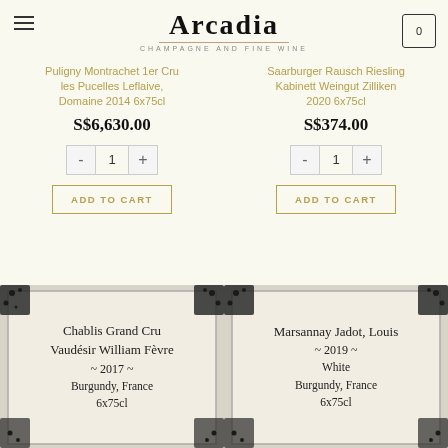Arcadia — CHAMPAGNE AND FINE WINE
Puligny Montrachet 1er Cru les Pucelles Leflaive, Domaine 2014 6x75cl
S$6,630.00
ADD TO CART
Saarburger Rausch Riesling Kabinett Weingut Zilliken 2020 6x75cl
S$374.00
ADD TO CART
[Figure (illustration): Wine product card with distressed border showing: Chablis Grand Cru Vaudésir William Fèvre ~ 2017 ~ Burgundy, France 6x75cl]
[Figure (illustration): Wine product card with distressed border showing: Marsannay Jadot, Louis ~ 2019 ~ White Burgundy, France 6x75cl]